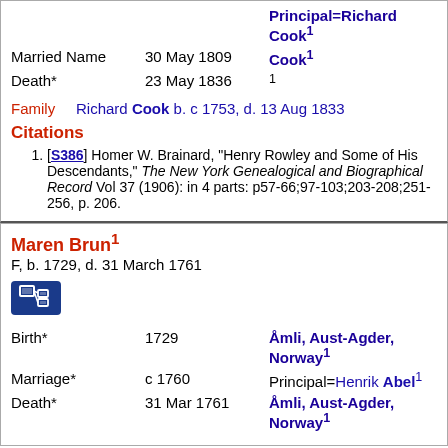| Event | Date | Detail |
| --- | --- | --- |
| Married Name | 30 May 1809 | Cook¹ |
| Death* | 23 May 1836 | ¹ |
Family  Richard Cook b. c 1753, d. 13 Aug 1833
Citations
[S386] Homer W. Brainard, "Henry Rowley and Some of His Descendants," The New York Genealogical and Biographical Record Vol 37 (1906): in 4 parts: p57-66;97-103;203-208;251-256, p. 206.
Maren Brun¹
F, b. 1729, d. 31 March 1761
| Event | Date | Detail |
| --- | --- | --- |
| Birth* | 1729 | Åmli, Aust-Agder, Norway¹ |
| Marriage* | c 1760 | Principal=Henrik Abel¹ |
| Death* | 31 Mar 1761 | Åmli, Aust-Agder, Norway¹ |